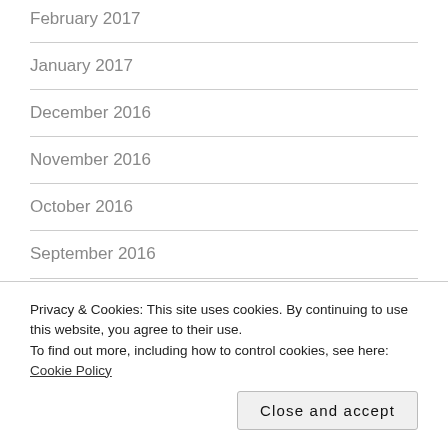February 2017
January 2017
December 2016
November 2016
October 2016
September 2016
August 2016
July 2016
June 2016
Privacy & Cookies: This site uses cookies. By continuing to use this website, you agree to their use.
To find out more, including how to control cookies, see here: Cookie Policy